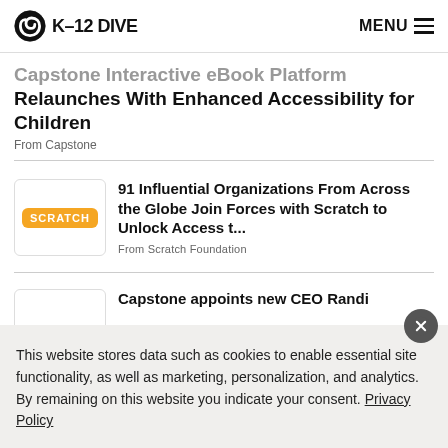K-12 DIVE  MENU
Capstone Interactive eBook Platform Relaunches With Enhanced Accessibility for Children
From Capstone
91 Influential Organizations From Across the Globe Join Forces with Scratch to Unlock Access t...
From Scratch Foundation
Capstone appoints new CEO Randi
This website stores data such as cookies to enable essential site functionality, as well as marketing, personalization, and analytics. By remaining on this website you indicate your consent. Privacy Policy